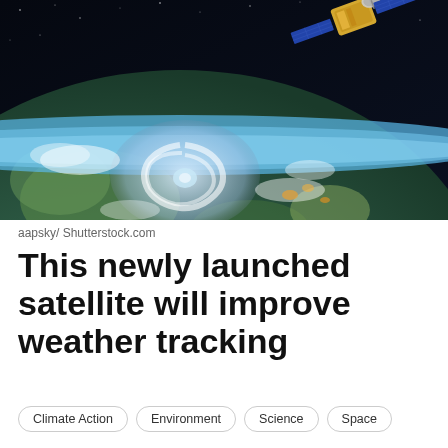[Figure (photo): Satellite orbiting Earth viewed from space, showing a hurricane/cyclone storm system over land with clouds and atmosphere visible, with a communications satellite in the upper right corner against a black starry background.]
aapsky/ Shutterstock.com
This newly launched satellite will improve weather tracking
Climate Action
Environment
Science
Space